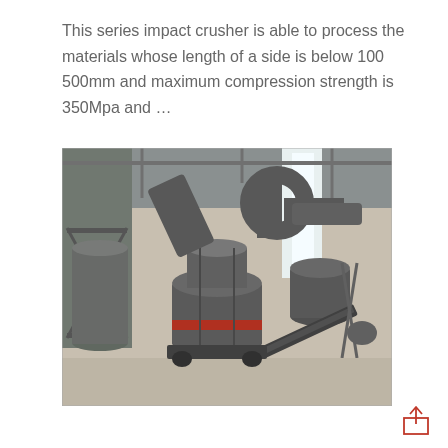This series impact crusher is able to process the materials whose length of a side is below 100 500mm and maximum compression strength is 350Mpa and ...
[Figure (photo): Industrial photo of a large impact crusher machine inside a factory/warehouse. The heavy machinery includes large cylindrical grinding components, conveyor belts, steel piping and ductwork, and structural steel framework. The floor is concrete and the building has a steel-framed ceiling.]